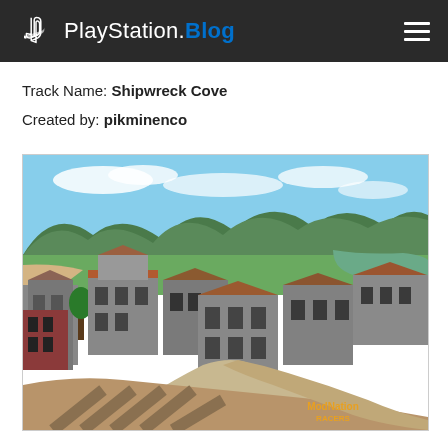PlayStation.Blog
Track Name: Shipwreck Cove
Created by: pikminenco
[Figure (screenshot): Aerial view of a video game racing track called Shipwreck Cove, showing a Mediterranean-style coastal town with multi-story buildings, terracotta roofs, winding roads, mountains in the background, and a ModnNation Racers watermark in the bottom right corner.]